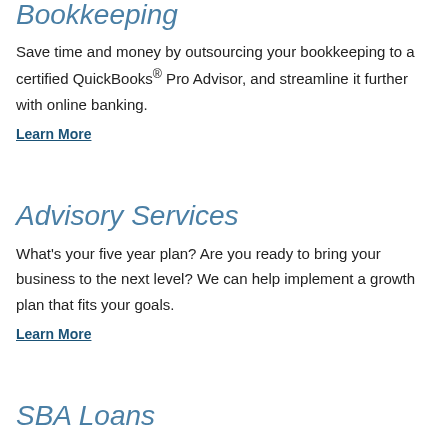Bookkeeping
Save time and money by outsourcing your bookkeeping to a certified QuickBooks® Pro Advisor, and streamline it further with online banking.
Learn More
Advisory Services
What's your five year plan? Are you ready to bring your business to the next level? We can help implement a growth plan that fits your goals.
Learn More
SBA Loans